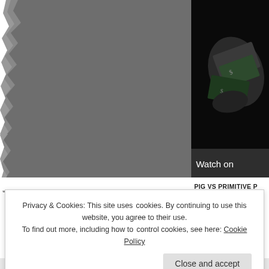[Figure (photo): Large gray torn-paper textured image on the left side of the page]
[Figure (screenshot): Video thumbnail showing paper money/bills on dark background with 'Watch on' bar at bottom]
PIG VS PRIMITIVE P
Privacy & Cookies: This site uses cookies. By continuing to use this website, you agree to their use.
To find out more, including how to control cookies, see here: Cookie Policy
Close and accept
AIRPORT-TIPS.AE